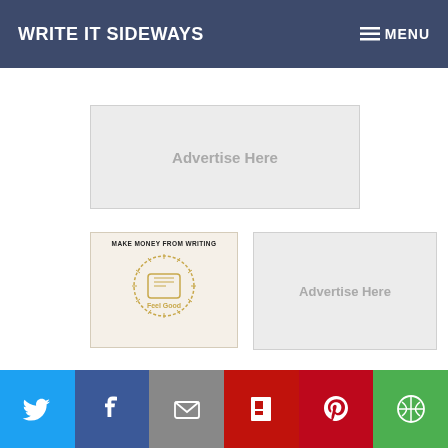WRITE IT SIDEWAYS — MENU
[Figure (other): Advertisement placeholder banner reading 'Advertise Here']
[Figure (other): Book cover for 'Make Money From Writing' with Feel Good logo]
[Figure (other): Advertisement placeholder box reading 'Advertise Here']
[Figure (infographic): Social sharing bar with Twitter, Facebook, Email, Flipboard, Pinterest, and More buttons]